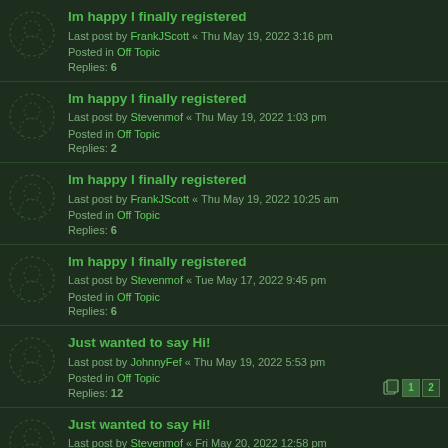Im happy I finally registered
Last post by FrankJScott « Thu May 19, 2022 3:16 pm
Posted in Off Topic
Replies: 6
Im happy I finally registered
Last post by Stevenmof « Thu May 19, 2022 1:03 pm
Posted in Off Topic
Replies: 2
Im happy I finally registered
Last post by FrankJScott « Thu May 19, 2022 10:25 am
Posted in Off Topic
Replies: 6
Im happy I finally registered
Last post by Stevenmof « Tue May 17, 2022 9:45 pm
Posted in Off Topic
Replies: 6
Just wanted to say Hi!
Last post by JohnnyFef « Thu May 19, 2022 5:53 pm
Posted in Off Topic
Replies: 12
Just wanted to say Hi!
Last post by Stevenmof « Fri May 20, 2022 12:58 pm
Posted in Off Topic
Replies: 5